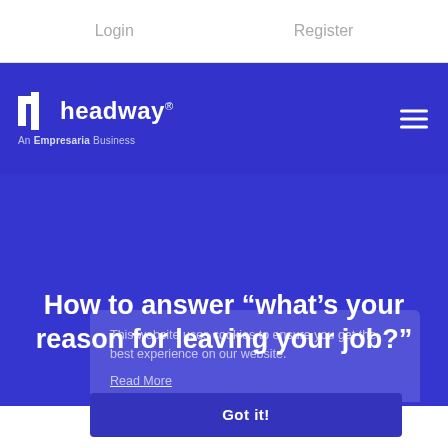Login   Register
[Figure (logo): Headway logo — stylized 'h' icon in white on blue background, text 'headway®', subtitle 'An Empresaria Business']
How to answer “what’s your reason for leaving your job?”
This website uses cookies to ensure you get the best experience on our website.
Read More
Got it!